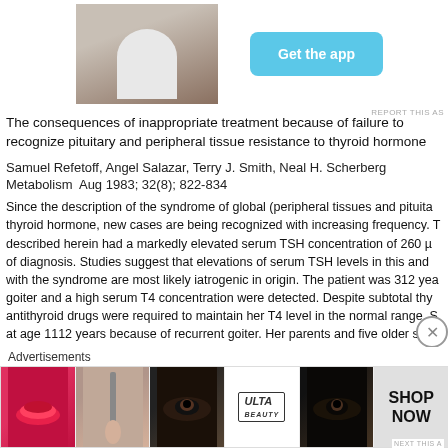[Figure (photo): Partial photo of a person wearing a white shirt, sitting outdoors]
[Figure (other): Get the app button - cyan/blue rounded rectangle button]
REPORT THIS AS
The consequences of inappropriate treatment because of failure to recognize pituitary and peripheral tissue resistance to thyroid hormone
Samuel Refetoff, Angel Salazar, Terry J. Smith, Neal H. Scherberg
Metabolism  Aug 1983; 32(8); 822-834
Since the description of the syndrome of global (peripheral tissues and pituita... thyroid hormone, new cases are being recognized with increasing frequency. T... described herein had a markedly elevated serum TSH concentration of 260 µ... of diagnosis. Studies suggest that elevations of serum TSH levels in this and ... with the syndrome are most likely iatrogenic in origin. The patient was 312 yea... goiter and a high serum T4 concentration were detected. Despite subtotal thy... antithyroid drugs were required to maintain her T4 level in the normal range. S... at age 1112 years because of recurrent goiter. Her parents and five older sibli... thyroid function. Off therapy, her serum T4 level was 14.9 µg/dL, FT4I was 17... ng/dL  TSH was 260 µIU/ml  and antibodies were negative. There were n...
Advertisements
[Figure (photo): ULTA Beauty advertisement banner showing lips, makeup brush, eye makeup, ULTA logo, eye makeup, and SHOP NOW text]